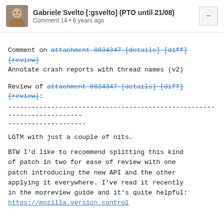Gabriele Svelto [:gsvelto] (PTO until 21/08)
Comment 14 • 6 years ago
Comment on attachment 8834347 [details] [diff] [review]
Annotate crash reports with thread names (v2)
Review of attachment 8834347 [details] [diff] [review]:
------------------------------------------------------------------------
--------------------
LGTM with just a couple of nits.
BTW I'd like to recommend splitting this kind of patch in two for ease of review with one patch introducing the new API and the other applying it everywhere. I've read it recently in the mozreview guide and it's quite helpful:
https://mozilla.version.control